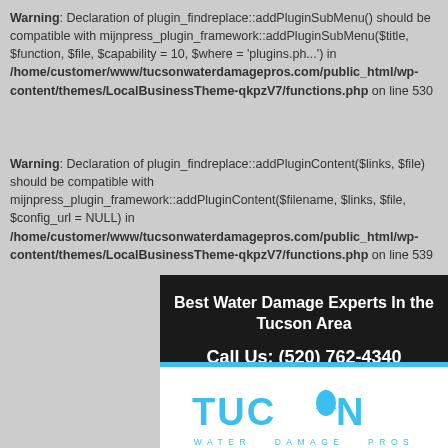Warning: Declaration of plugin_findreplace::addPluginSubMenu() should be compatible with mijnpress_plugin_framework::addPluginSubMenu($title, $function, $file, $capability = 10, $where = 'plugins.ph...') in /home/customer/www/tucsonwaterdamagepros.com/public_html/wp-content/themes/LocalBusinessTheme-qkpzV7/functions.php on line 530
Warning: Declaration of plugin_findreplace::addPluginContent($links, $file) should be compatible with mijnpress_plugin_framework::addPluginContent($filename, $links, $file, $config_url = NULL) in /home/customer/www/tucsonwaterdamagepros.com/public_html/wp-content/themes/LocalBusinessTheme-qkpzV7/functions.php on line 539
[Figure (infographic): Dark widget box with white text: 'Best Water Damage Experts In the Tucson Area', 'Call Us: (520) 762-4340', and social media icons for Facebook, Twitter, YouTube, Google+]
[Figure (logo): Tucson Water Damage Pros logo in cyan/blue color with water drop icon]